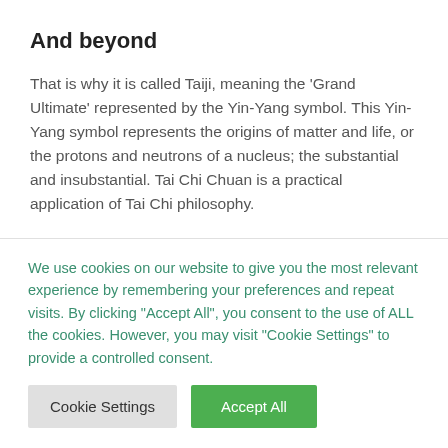And beyond
That is why it is called Taiji, meaning the ‘Grand Ultimate’ represented by the Yin-Yang symbol. This Yin-Yang symbol represents the origins of matter and life, or the protons and neutrons of a nucleus; the substantial and insubstantial. Tai Chi Chuan is a practical application of Tai Chi philosophy.
There is more on who Master Ch’ng is in the history, an overview of the forms, what ‘push hands’ is and
We use cookies on our website to give you the most relevant experience by remembering your preferences and repeat visits. By clicking “Accept All”, you consent to the use of ALL the cookies. However, you may visit "Cookie Settings" to provide a controlled consent.
Cookie Settings
Accept All